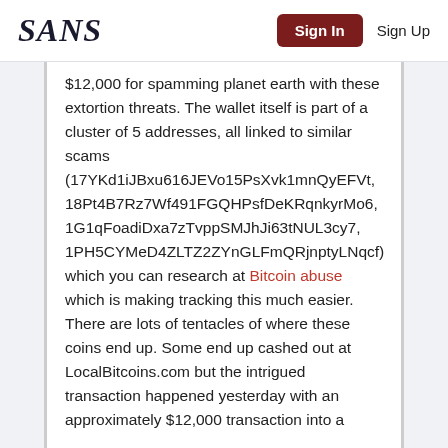SANS | Sign In | Sign Up
$12,000 for spamming planet earth with these extortion threats. The wallet itself is part of a cluster of 5 addresses, all linked to similar scams (17YKd1iJBxu616JEVo15PsXvk1mnQyEFVt, 18Pt4B7Rz7Wf491FGQHPsfDeKRqnkyrMo6, 1G1qFoadiDxa7zTvppSMJhJi63tNUL3cy7, 1PH5CYMeD4ZLTZ2ZYnGLFmQRjnptyLNqcf) which you can research at Bitcoin abuse which is making tracking this much easier. There are lots of tentacles of where these coins end up. Some end up cashed out at LocalBitcoins.com but the intrigued transaction happened yesterday with an approximately $12,000 transaction into a